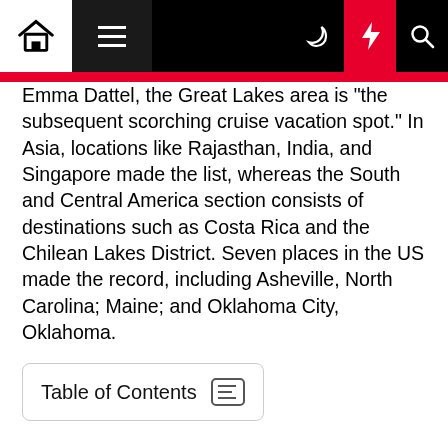Navigation bar with home, menu, moon, lightning, and search icons
Emma Dattel, the Great Lakes area is "the subsequent scorching cruise vacation spot." In Asia, locations like Rajasthan, India, and Singapore made the list, whereas the South and Central America section consists of destinations such as Costa Rica and the Chilean Lakes District. Seven places in the US made the record, including Asheville, North Carolina; Maine; and Oklahoma City, Oklahoma.
Table of Contents
An Expertise So Real
Get recommendation from our travel specialists and consider the journal's award-winning pictures. The digital version of TRAVEL + LEISURE™ has all of the instruments you need to take you where you want to go. Even for those unwilling to embark on